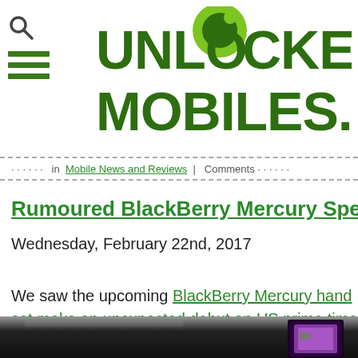UNLOCKED MOBILES.COM
Posted in Mobile News and Reviews | Comments...
Rumoured BlackBerry Mercury Specification S...
Wednesday, February 22nd, 2017
We saw the upcoming BlackBerry Mercury handset make an unexpected debut on US prime time TV earlier this week, along with a clear shot of the device:
[Figure (photo): Close-up photo of what appears to be the BlackBerry Mercury device on a dark surface, showing part of the device with a purple/magenta glow visible.]